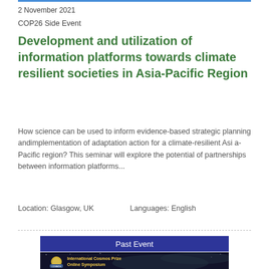2 November 2021
COP26 Side Event
Development and utilization of information platforms towards climate resilient societies in Asia-Pacific Region
How science can be used to inform evidence-based strategic planning andimplementation of adaptation action for a climate-resilient Asi a-Pacific region? This seminar will explore the potential of partnerships between information platforms...
Location: Glasgow, UK    Languages: English
Past Event
[Figure (photo): International Cosmos Prize Online Symposium banner image with space/satellite imagery background and gold cosmos logo]